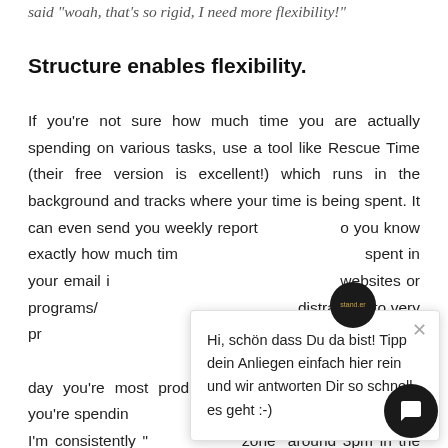said "woah, that's so rigid, I need more flexibility!"
Structure enables flexibility.
If you're not sure how much time you are actually spending on various tasks, use a tool like Rescue Time (their free version is excellent!) which runs in the background and tracks where your time is being spent. It can even send you weekly reports so you know exactly how much time you're spent in your email inbox, specific websites or programs/apps, from very distracting to very productive, at a glance things like: which apps are most productive, which times of the day you're most productive, and the sites on which you're spending the most distracting time. Turns out I'm consistently "in the zone" around 3pm in the afternoon; so instead of trying
[Figure (screenshot): Chat popup overlay with stand.er logo avatar, close button, and message in German: 'Hi, schön dass Du da bist! Tipp dein Anliegen einfach hier rein und wir antworten Dir so schnell es geht :-)' with a black circular chat button in the bottom right corner.]